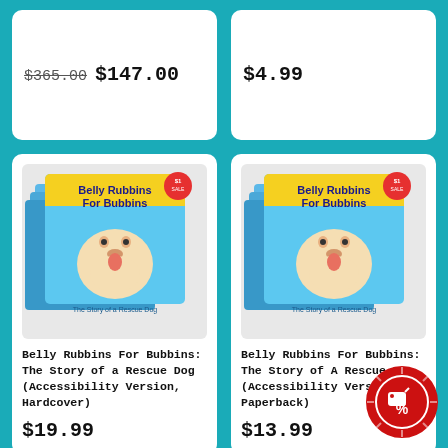$365.00 $147.00
$4.99
[Figure (photo): Stack of 'Belly Rubbins For Bubbins: The Story of a Rescue Dog' books, Accessibility Version]
Belly Rubbins For Bubbins: The Story of a Rescue Dog (Accessibility Version, Hardcover)
$19.99
[Figure (photo): Stack of 'Belly Rubbins For Bubbins: The Story of a Rescue Dog' books, Accessibility Version]
Belly Rubbins For Bubbins: The Story of A Rescue Dog (Accessibility Version, Paperback)
$13.99